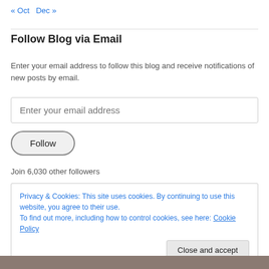« Oct   Dec »
Follow Blog via Email
Enter your email address to follow this blog and receive notifications of new posts by email.
Enter your email address
Follow
Join 6,030 other followers
Privacy & Cookies: This site uses cookies. By continuing to use this website, you agree to their use.
To find out more, including how to control cookies, see here: Cookie Policy
Close and accept